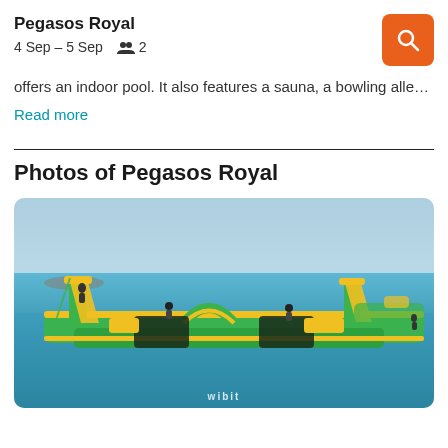Pegasos Royal
4 Sep – 5 Sep   👥 2
offers an indoor pool. It also features a sauna, a bowling alle…
Read more
Photos of Pegasos Royal
[Figure (photo): Outdoor inflatable water park (Wibit) floating in the sea with people playing on green and yellow inflatable structures including slides and trampolines. Clear sky in the background.]